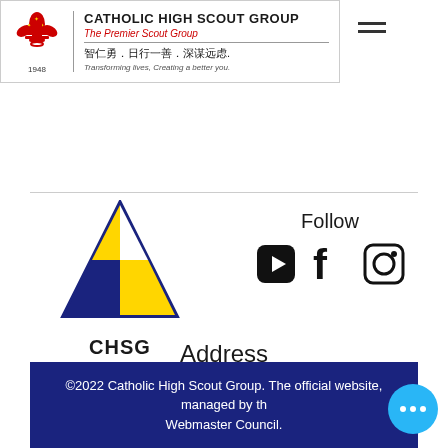CATHOLIC HIGH SCOUT GROUP — The Premier Scout Group — 智仁勇. 日行一善. 深谋远虑. — Transforming lives, Creating a better you.
[Figure (logo): CHSG triangular logo with blue border, yellow and white panels, with text CHSG below]
Follow
[Figure (logo): Social media icons: YouTube, Facebook, Instagram]
Address
9 Bishan Street 22, Singapore 579767
©2022 Catholic High Scout Group. The official website, managed by the Webmaster Council.